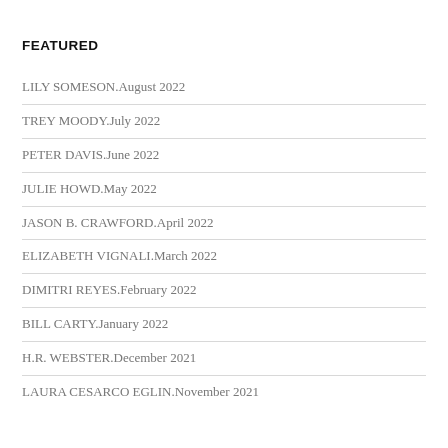FEATURED
LILY SOMESON.August 2022
TREY MOODY.July 2022
PETER DAVIS.June 2022
JULIE HOWD.May 2022
JASON B. CRAWFORD.April 2022
ELIZABETH VIGNALI.March 2022
DIMITRI REYES.February 2022
BILL CARTY.January 2022
H.R. WEBSTER.December 2021
LAURA CESARCO EGLIN.November 2021